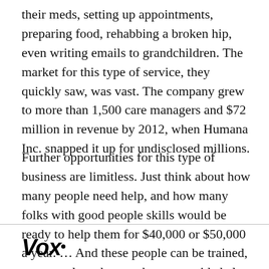their meds, setting up appointments, preparing food, rehabbing a broken hip, even writing emails to grandchildren. The market for this type of service, they quickly saw, was vast. The company grew to more than 1,500 care managers and $72 million in revenue by 2012, when Humana Inc. snapped it up for undisclosed millions.
Further opportunities for this type of business are limitless. Just think about how many people need help, and how many folks with good people skills would be ready to help them for $40,000 or $50,000 a year. ... And these people can be trained, not to replace doctors, but to provide help for every
Vox